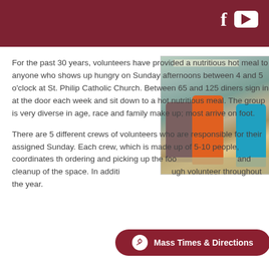For the past 30 years, volunteers have provided a nutritious hot meal to anyone who shows up hungry on Sunday afternoons between 4 and 5 o'clock at St. Philip Catholic Church. Between 65 and 125 diners sign in at the door each week and sit down to a hot nutritious meal. The group is very diverse in age, race and family make up; most arrive on foot.
[Figure (photo): Volunteers serving food in a kitchen, three people visible, one wearing orange shirt, one wearing blue shirt]
There are 5 different crews of volunteers who are responsible for their assigned Sunday. Each crew, which is made up of 5-10 people, coordinates the ordering and picking up the food, and cleanup of the space. In addition, high volunteer throughout the year.